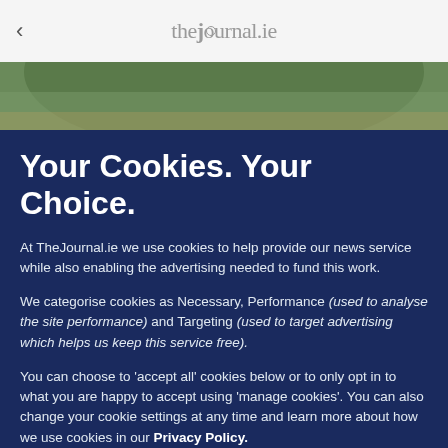thejournal.ie
[Figure (photo): Photo of a green domed building roof]
Your Cookies. Your Choice.
At TheJournal.ie we use cookies to help provide our news service while also enabling the advertising needed to fund this work.
We categorise cookies as Necessary, Performance (used to analyse the site performance) and Targeting (used to target advertising which helps us keep this service free).
You can choose to 'accept all' cookies below or to only opt in to what you are happy to accept using 'manage cookies'. You can also change your cookie settings at any time and learn more about how we use cookies in our Privacy Policy.